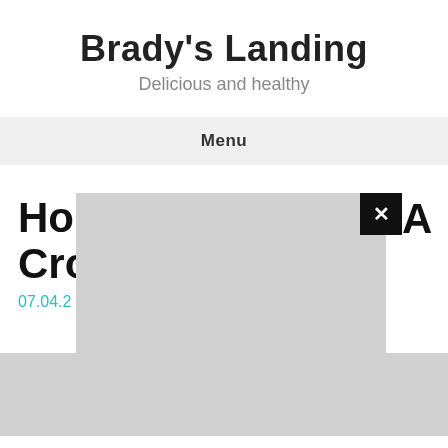Brady's Landing
Delicious and healthy
Menu
Ho... A Cro...
07.04.2...
[Figure (screenshot): Gray modal overlay box with black close (×) button in upper right corner, partially obscuring a blog post title and date on a restaurant website page.]